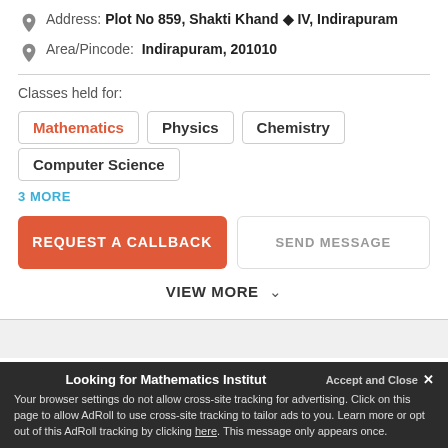Address: Plot No 859, Shakti Khand ◆ IV, Indirapuram
Area/Pincode: Indirapuram, 201010
Classes held for:
Mathematics
Physics
Chemistry
Computer Science
3 MORE
REQUEST A CALLBACK
SEND MESSAGE
VIEW MORE
Looking for Mathematics Institut...
Your browser settings do not allow cross-site tracking for advertising. Click on this page to allow AdRoll to use cross-site tracking to tailor ads to you. Learn more or opt out of this AdRoll tracking by clicking here. This message only appears once.